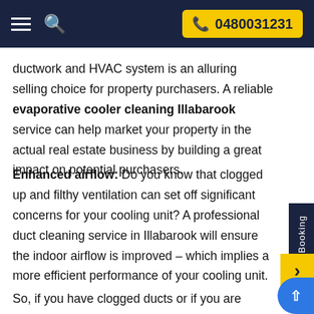0480031231
ductwork and HVAC system is an alluring selling choice for property purchasers. A reliable evaporative cooler cleaning Illabarook service can help market your property in the actual real estate business by building a great impact on potential purchasers.
Enhanced airflow: Do you know that clogged up and filthy ventilation can set off significant concerns for your cooling unit? A professional duct cleaning service in Illabarook will ensure the indoor airflow is improved – which implies a more efficient performance of your cooling unit.
So, if you have clogged ducts or if you are wondering